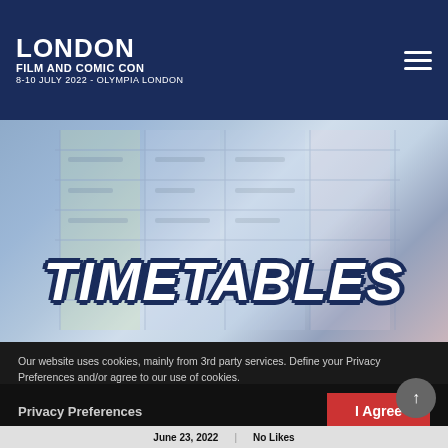LONDON FILM AND COMIC CON | 8-10 JULY 2022 - OLYMPIA LONDON
[Figure (photo): Hero banner image with blurred timetable grid background in blue/purple tones, overlaid with large bold italic white text reading TIMETABLES with dark outline]
Our website uses cookies, mainly from 3rd party services. Define your Privacy Preferences and/or agree to our use of cookies.
Privacy Preferences
I Agree
June 23, 2022 | No Likes